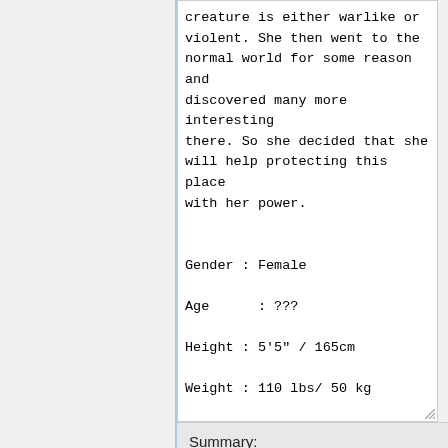creature is either warlike or violent. She then went to the normal world for some reason and discovered many more interesting there. So she decided that she will help protecting this place with her power.

Gender : Female

Age      : ???

Height : 5'5" / 165cm

Weight : 110 lbs/ 50 kg
Summary:
255
Please note that all contributions to RPGnet may be edited, altered, or removed by other contributors. If you do not want your writing to be edited mercilessly, then do not submit it here. You are also promising us that you